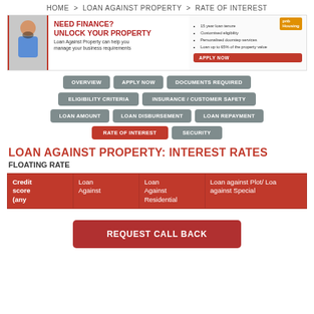HOME > LOAN AGAINST PROPERTY > RATE OF INTEREST
[Figure (infographic): PNB Housing banner advertisement - Need Finance? Unlock Your Property. Loan Against Property can help you manage your business requirements. 15 year loan tenure, Customised eligibility, Personalised doorstep services, Loan up to 65% of the property value. Apply Now button.]
OVERVIEW
APPLY NOW
DOCUMENTS REQUIRED
ELIGIBILITY CRITERIA
INSURANCE / CUSTOMER SAFETY
LOAN AMOUNT
LOAN DISBURSEMENT
LOAN REPAYMENT
RATE OF INTEREST
SECURITY
LOAN AGAINST PROPERTY: INTEREST RATES
FLOATING RATE
| Credit score (any | Loan Against | Loan Against Residential | Loan against Plot/ Loan against Special |
| --- | --- | --- | --- |
REQUEST CALL BACK